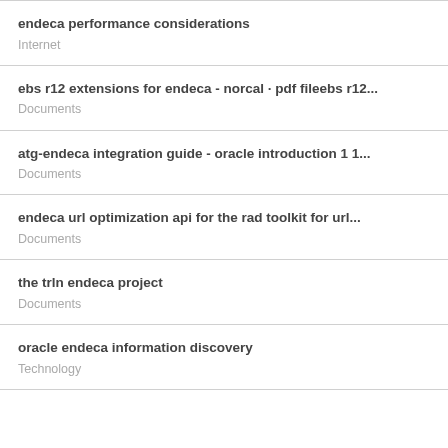endeca performance considerations
Internet
ebs r12 extensions for endeca - norcal · pdf fileebs r12...
Documents
atg-endeca integration guide - oracle introduction 1 1...
Documents
endeca url optimization api for the rad toolkit for url...
Documents
the trln endeca project
Documents
oracle endeca information discovery
Technology